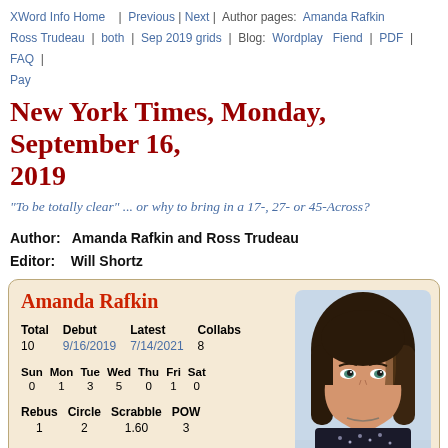XWord Info Home | Previous | Next | Author pages: Amanda Rafkin Ross Trudeau | both | Sep 2019 grids | Blog: Wordplay Fiend | PDF | FAQ | Pay
New York Times, Monday, September 16, 2019
"To be totally clear" ... or why to bring in a 17-, 27- or 45-Across?
Author:  Amanda Rafkin and Ross Trudeau
Editor:  Will Shortz
Amanda Rafkin
| Total | Debut | Latest | Collabs |
| --- | --- | --- | --- |
| 10 | 9/16/2019 | 7/14/2021 | 8 |
| Sun | Mon | Tue | Wed | Thu | Fri | Sat |
| --- | --- | --- | --- | --- | --- | --- |
| 0 | 1 | 3 | 5 | 0 | 1 | 0 |
| Rebus | Circle | Scrabble | POW |
| --- | --- | --- | --- |
| 1 | 2 | 1.60 | 3 |
[Figure (photo): Portrait photo of Amanda Rafkin, a young woman with long dark brown hair, blue-green eyes, wearing a dark top with a sequined neckline.]